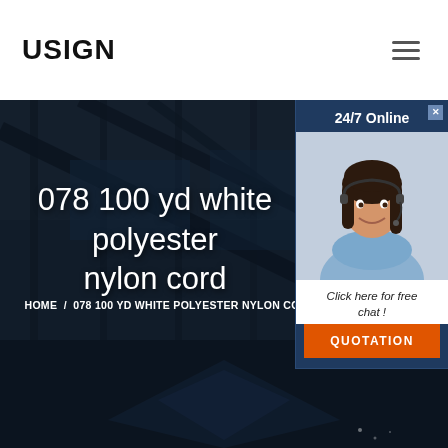USIGN
[Figure (screenshot): Website screenshot showing USIGN logo header with hamburger menu, dark industrial building hero image with text '078 100 yd white polyester nylon cord' and breadcrumb navigation, plus a 24/7 Online chat popup with a female customer service representative image and QUOTATION button]
078 100 yd white polyester nylon cord
HOME / 078 100 YD WHITE POLYESTER NYLON CORD